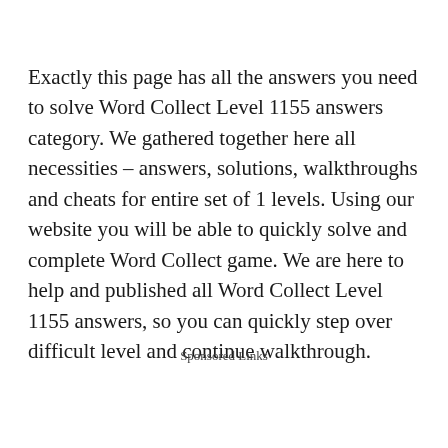Exactly this page has all the answers you need to solve Word Collect Level 1155 answers category. We gathered together here all necessities – answers, solutions, walkthroughs and cheats for entire set of 1 levels. Using our website you will be able to quickly solve and complete Word Collect game. We are here to help and published all Word Collect Level 1155 answers, so you can quickly step over difficult level and continue walkthrough.
Sponsored Links